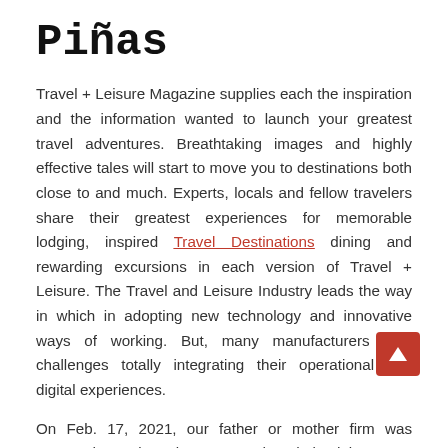Piñas
Travel + Leisure Magazine supplies each the inspiration and the information wanted to launch your greatest travel adventures. Breathtaking images and highly effective tales will start to move you to destinations both close to and much. Experts, locals and fellow travelers share their greatest experiences for memorable lodging, inspired Travel Destinations dining and rewarding excursions in each version of Travel + Leisure. The Travel and Leisure Industry leads the way in which in adopting new technology and innovative ways of working. But, many manufacturers face challenges totally integrating their operational and digital experiences.
On Feb. 17, 2021, our father or mother firm was renamed Travel + Leisure Co. and made its debut